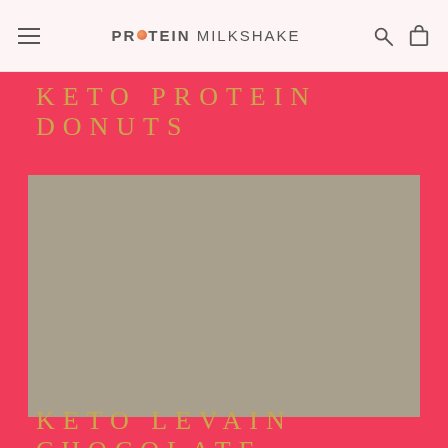PROTEIN MILKSHAKE
KETO PROTEIN DONUTS
[Figure (photo): A rectangular image placeholder showing keto protein donuts, rendered as a grey-brown rectangle.]
KETO LEVAIN CHOCOLATE